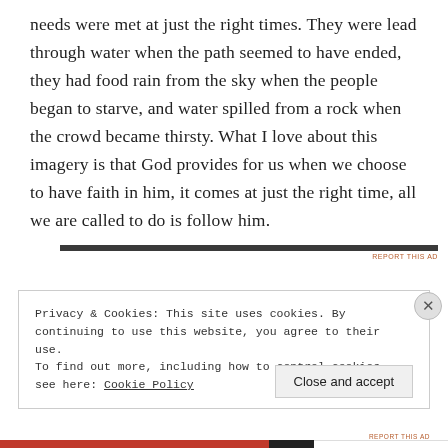needs were met at just the right times. They were lead through water when the path seemed to have ended, they had food rain from the sky when the people began to starve, and water spilled from a rock when the crowd became thirsty. What I love about this imagery is that God provides for us when we choose to have faith in him, it comes at just the right time, all we are called to do is follow him.
Privacy & Cookies: This site uses cookies. By continuing to use this website, you agree to their use.
To find out more, including how to control cookies, see here: Cookie Policy